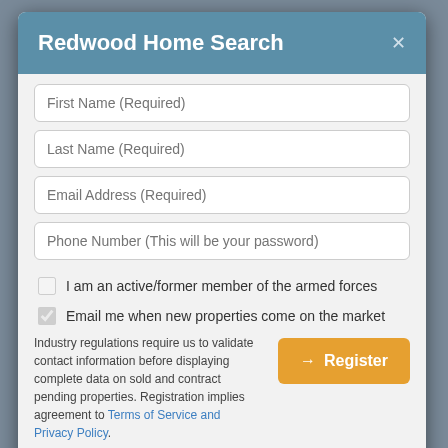Redwood Home Search
First Name (Required)
Last Name (Required)
Email Address (Required)
Phone Number (This will be your password)
I am an active/former member of the armed forces
Email me when new properties come on the market
Industry regulations require us to validate contact information before displaying complete data on sold and contract pending properties. Registration implies agreement to Terms of Service and Privacy Policy.
Already have an account? Sign in